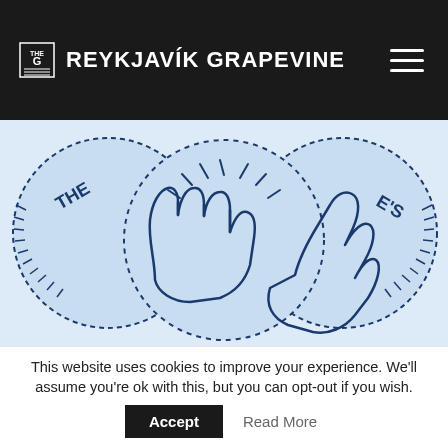THE REYKJAVÍK GRAPEVINE
[Figure (illustration): Illustration of two hands doing a high five with circular badge design elements and text 'THE GRAPEVINE'S' in the background, light blue background]
The High Five (With A Secret Handshake!)
12 € / month
billed monthly
This website uses cookies to improve your experience. We'll assume you're ok with this, but you can opt-out if you wish.
Accept
Read More